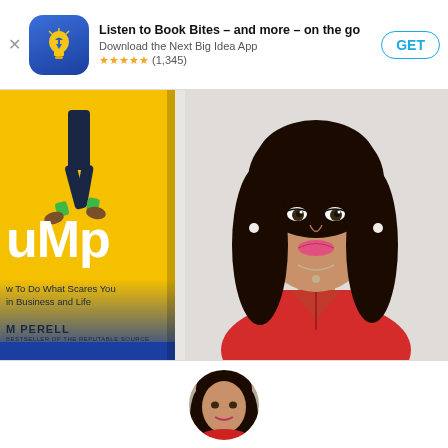Listen to Book Bites – and more – on the go | Download the Next Big Idea App | ★★★★★ (1,345)
[Figure (photo): App banner with Next Big Idea App icon (blue background with yellow lightbulb), title 'Listen to Book Bites – and more – on the go', subtitle 'Download the Next Big Idea App', 5-star rating (1,345), and a GET button]
[Figure (photo): Left side: Book cover showing 'Jump' by M Perell with subtitle 'How To Do What Scares You in Business and Life' on yellow/blue background with a jumping figure. Right side: Professional headshot of a woman with long dark hair wearing a red dress, smiling.]
[Figure (photo): Bottom partial circular thumbnail of a woman's face/headshot]